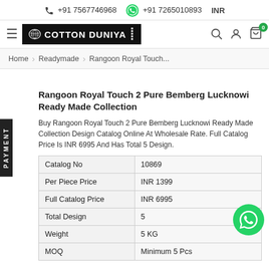+91 7567746968   +91 7265010893   INR
[Figure (logo): Cotton Duniya logo with lotus icon and navigation bar showing hamburger, search, user and cart icons]
Home > Readymade > Rangoon Royal Touch...
Rangoon Royal Touch 2 Pure Bemberg Lucknowi Ready Made Collection
Buy Rangoon Royal Touch 2 Pure Bemberg Lucknowi Ready Made Collection Design Catalog Online At Wholesale Rate. Full Catalog Price Is INR 6995 And Has Total 5 Design.
| Catalog No | 10869 |
| Per Piece Price | INR 1399 |
| Full Catalog Price | INR 6995 |
| Total Design | 5 |
| Weight | 5 KG |
| MOQ | Minimum 5 Pcs |